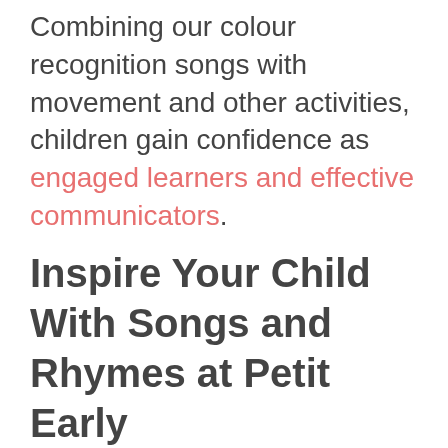Combining our colour recognition songs with movement and other activities, children gain confidence as engaged learners and effective communicators.
Inspire Your Child With Songs and Rhymes at Petit Early